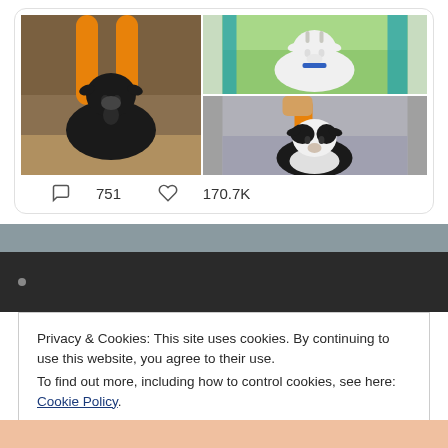[Figure (photo): Social media post with a grid of three goat photos: left - black goat with orange foam noodles on horns in barn setting; top right - white goat outdoors near teal/turquoise bars; bottom right - black and white goat with orange foam noodle prop in outdoor setting]
751   170.7K
[Figure (screenshot): Cookie consent banner overlay on a dark website background. Banner reads: Privacy & Cookies: This site uses cookies. By continuing to use this website, you agree to their use. To find out more, including how to control cookies, see here: Cookie Policy. With a Close and accept button.]
Privacy & Cookies: This site uses cookies. By continuing to use this website, you agree to their use.
To find out more, including how to control cookies, see here: Cookie Policy
Close and accept